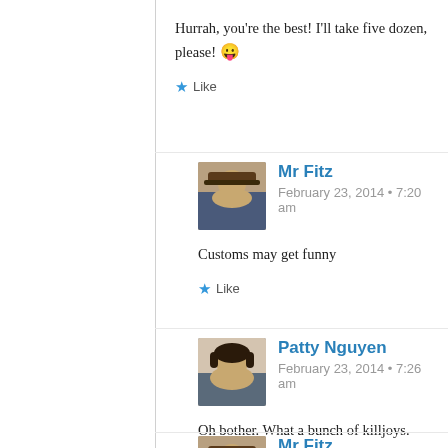Hurrah, you're the best! I'll take five dozen, please! 😛
★ Like
Mr Fitz
February 23, 2014 • 7:20 am
Customs may get funny
★ Like
Patty Nguyen
February 23, 2014 • 7:26 am
Oh bother. What a bunch of killjoys.
★ Liked by 1 person
Mr Fitz